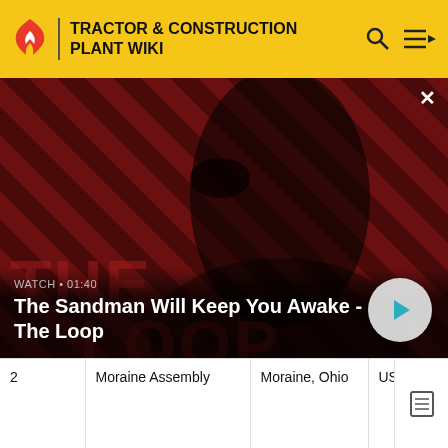TRACTOR & CONSTRUCTION PLANT WIKI
[Figure (screenshot): Video banner showing a dark figure with a raven on shoulder against a red/dark striped background. Text overlay: WATCH • 01:40, The Sandman Will Keep You Awake - The Loop. Play button in bottom right.]
| 2 | Moraine Assembly | Moraine, Ohio | USA |  |
Tra
Er
As